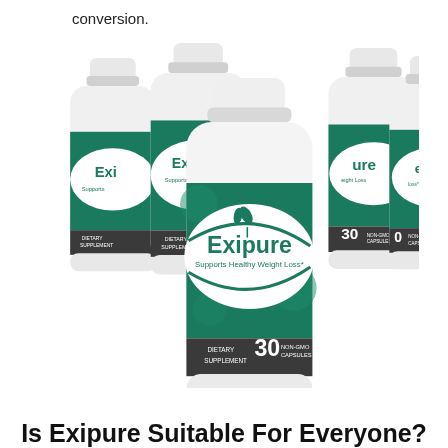conversion.
[Figure (photo): Five white bottles of Exipure dietary supplement with green labels reading 'Exipure - Supports Healthy Weight Loss - Dietary Supplement - 30 Non-GMO Capsules', arranged in a group with one bottle in the front center.]
Is Exipure Suitable For Everyone?